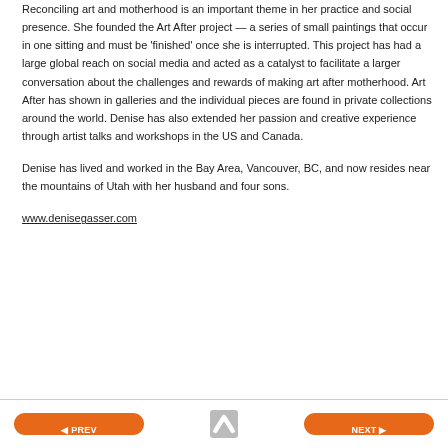Reconciling art and motherhood is an important theme in her practice and social presence. She founded the Art After project — a series of small paintings that occur in one sitting and must be 'finished' once she is interrupted. This project has had a large global reach on social media and acted as a catalyst to facilitate a larger conversation about the challenges and rewards of making art after motherhood. Art After has shown in galleries and the individual pieces are found in private collections around the world. Denise has also extended her passion and creative experience through artist talks and workshops in the US and Canada.
Denise has lived and worked in the Bay Area, Vancouver, BC, and now resides near the mountains of Utah with her husband and four sons.
www.denisegasser.com